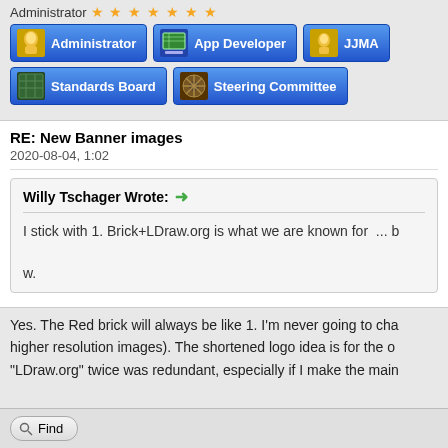Administrator ★★★★★★★
[Figure (screenshot): Row of role badges: Administrator, App Developer, JJMA (partial)]
[Figure (screenshot): Row of role badges: Standards Board, Steering Committee]
RE: New Banner images
2020-08-04, 1:02
Willy Tschager Wrote: → I stick with 1. Brick+LDraw.org is what we are known for  ... b

w.
Yes. The Red brick will always be like 1. I'm never going to cha higher resolution images). The shortened logo idea is for the o "LDraw.org" twice was redundant, especially if I make the main